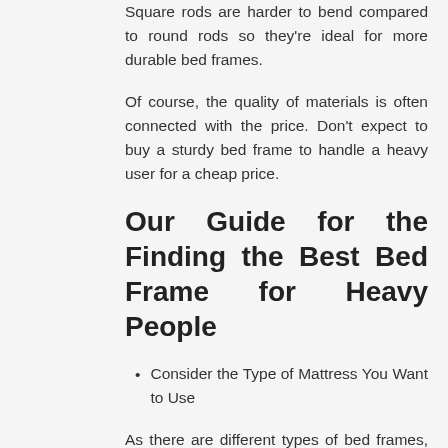Square rods are harder to bend compared to round rods so they're ideal for more durable bed frames.
Of course, the quality of materials is often connected with the price. Don't expect to buy a sturdy bed frame to handle a heavy user for a cheap price.
Our Guide for the Finding the Best Bed Frame for Heavy People
Consider the Type of Mattress You Want to Use
As there are different types of bed frames, there are also different types of